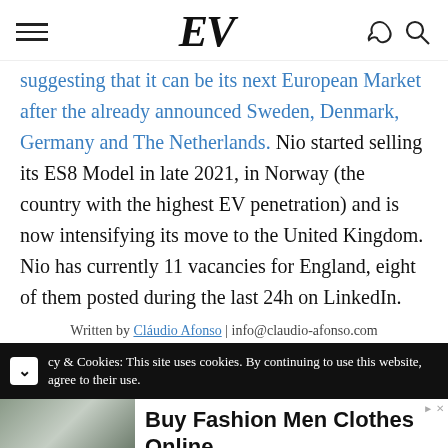EV [logo with hamburger menu and icons]
suggesting that it can be its next European Market after the already announced Sweden, Denmark, Germany and The Netherlands. Nio started selling its ES8 Model in late 2021, in Norway (the country with the highest EV penetration) and is now intensifying its move to the United Kingdom. Nio has currently 11 vacancies for England, eight of them posted during the last 24h on LinkedIn.
Written by Cláudio Afonso | info@claudio-afonso.com
cy & Cookies: This site uses cookies. By continuing to use this website, agree to their use.
[Figure (other): Advertisement banner for Incerunmen fashion: Buy Fashion Men Clothes Online with Shop Now button]